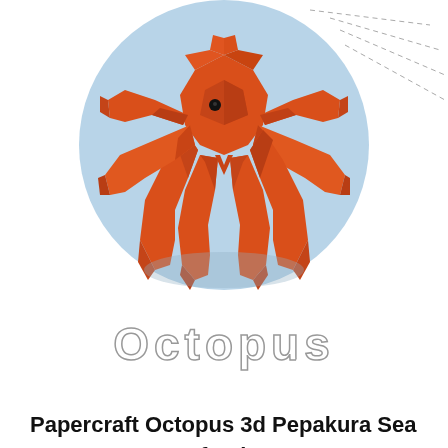[Figure (illustration): A 3D papercraft low-poly orange octopus with tentacles spread out, sitting on a light blue circular background. Dashed lines extend from the upper right of the circle. White background surrounds the circle.]
Octopus
Papercraft Octopus 3d Pepakura Sea Creatures Paperfreak Low Etsy Paper Crafts Pinterest Diy